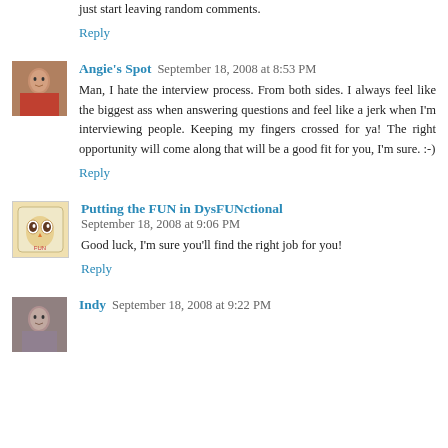just start leaving random comments.
Reply
Angie's Spot  September 18, 2008 at 8:53 PM
Man, I hate the interview process. From both sides. I always feel like the biggest ass when answering questions and feel like a jerk when I'm interviewing people. Keeping my fingers crossed for ya! The right opportunity will come along that will be a good fit for you, I'm sure. :-)
Reply
Putting the FUN in DysFUNctional  September 18, 2008 at 9:06 PM
Good luck, I'm sure you'll find the right job for you!
Reply
Indy  September 18, 2008 at 9:22 PM